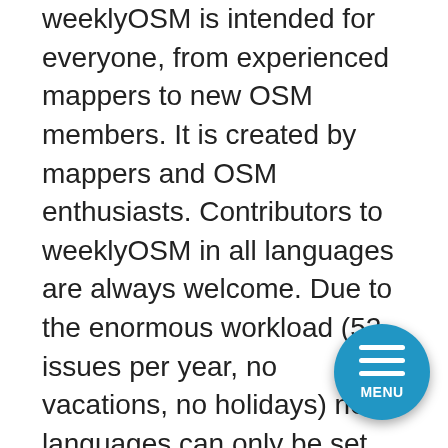weeklyOSM is intended for everyone, from experienced mappers to new OSM members. It is created by mappers and OSM enthusiasts. Contributors to weeklyOSM in all languages are always welcome. Due to the enormous workload (52 issues per year, no vacations, no holidays) new languages can only be set up if three mappers agree to cooperate.
The idea of weeklyOSM is to collect relevant OSM news from all over the world, process it and translate it into as many languages as possible. This should help to inform the community as comprehensively as possible and overcome language barriers.
weeklyOSM is independent of all organisations and companies. This applies to OSMF, HOT, FOSSG...nd all other companies not listed here. Neverthel...e would be happy if our current issue (in whatever